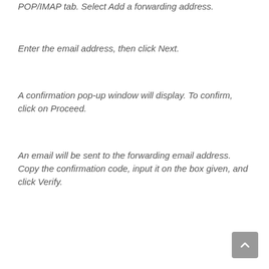POP/IMAP tab. Select Add a forwarding address.
Enter the email address, then click Next.
A confirmation pop-up window will display. To confirm, click on Proceed.
An email will be sent to the forwarding email address. Copy the confirmation code, input it on the box given, and click Verify.